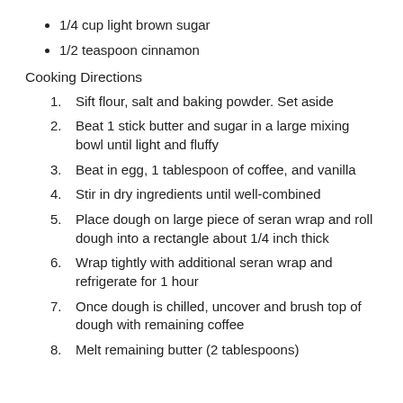1/4 cup light brown sugar
1/2 teaspoon cinnamon
Cooking Directions
Sift flour, salt and baking powder. Set aside
Beat 1 stick butter and sugar in a large mixing bowl until light and fluffy
Beat in egg, 1 tablespoon of coffee, and vanilla
Stir in dry ingredients until well-combined
Place dough on large piece of seran wrap and roll dough into a rectangle about 1/4 inch thick
Wrap tightly with additional seran wrap and refrigerate for 1 hour
Once dough is chilled, uncover and brush top of dough with remaining coffee
Melt remaining butter (2 tablespoons)